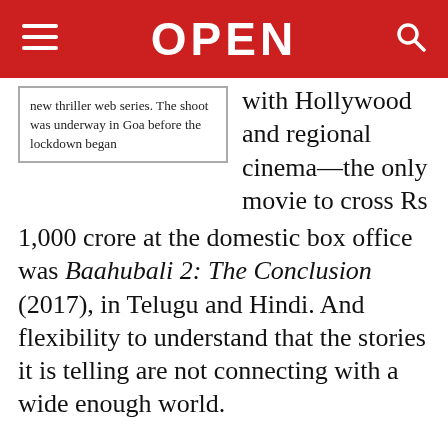OPEN
new thriller web series. The shoot was underway in Goa before the lockdown began
with Hollywood and regional cinema—the only movie to cross Rs 1,000 crore at the domestic box office was Baahubali 2: The Conclusion (2017), in Telugu and Hindi. And flexibility to understand that the stories it is telling are not connecting with a wide enough world.
The problem is not merely of the kind of stories Bollywood tells but also how big the audience for these is. Distribution has been Bollywood's greatest bugbear, limiting its industry to a revenue of $1.6